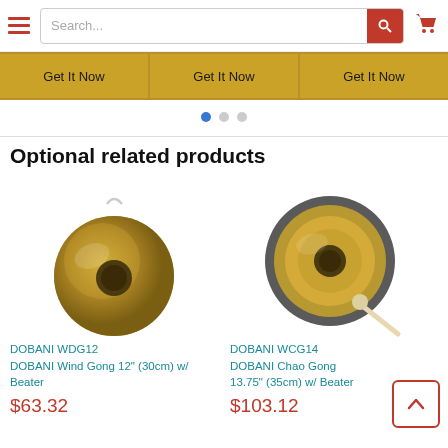[Figure (screenshot): Website header with hamburger menu icon, search bar, and red cart icon]
[Figure (screenshot): Three golden 'Get It Now' buttons bar with pagination dots below]
Optional related products
[Figure (photo): DOBANI WDG12 Wind Gong 12 inch (30cm) with Beater - metallic brass-colored gong with hanger]
DOBANI WDG12
DOBANI Wind Gong 12" (30cm) w/ Beater
$63.32
[Figure (photo): DOBANI WCG14 Chao Gong 13.75 inch (35cm) with Beater - dark rimmed gong with golden center and mallet]
DOBANI WCG14
DOBANI Chao Gong 13.75" (35cm) w/ Beater
$103.12